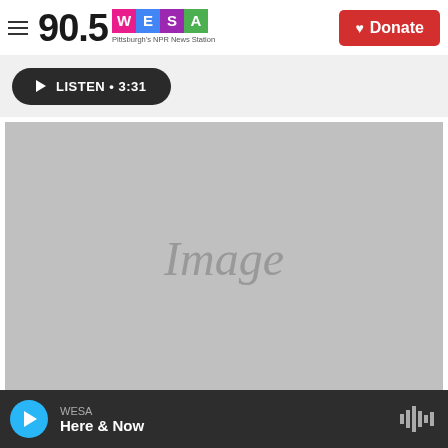90.5 WESA Pittsburgh's NPR News Station
LISTEN • 3:31
[Figure (photo): Image placeholder (gray rectangle)]
WESA Here & Now